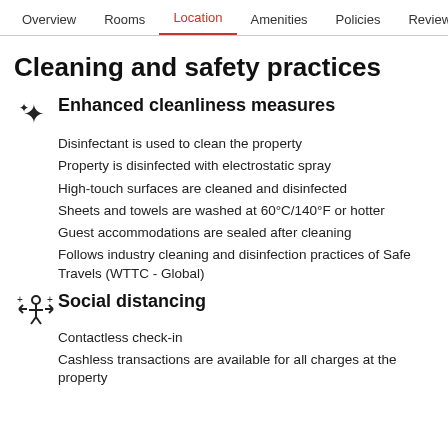Overview  Rooms  Location  Amenities  Policies  Reviews
Cleaning and safety practices
Enhanced cleanliness measures
Disinfectant is used to clean the property
Property is disinfected with electrostatic spray
High-touch surfaces are cleaned and disinfected
Sheets and towels are washed at 60°C/140°F or hotter
Guest accommodations are sealed after cleaning
Follows industry cleaning and disinfection practices of Safe Travels (WTTC - Global)
Social distancing
Contactless check-in
Cashless transactions are available for all charges at the property